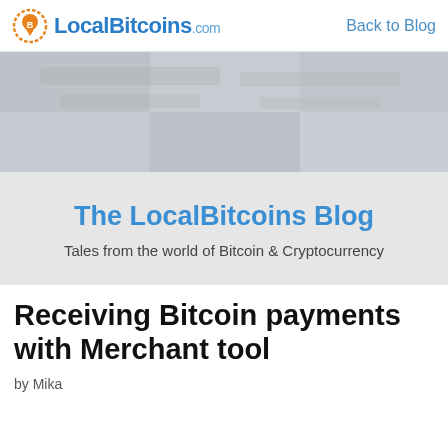LocalBitcoins.com  Back to Blog
[Figure (photo): Hero image banner, blurred/pixelated background photo]
The LocalBitcoins Blog
Tales from the world of Bitcoin & Cryptocurrency
Receiving Bitcoin payments with Merchant tool
by Mika